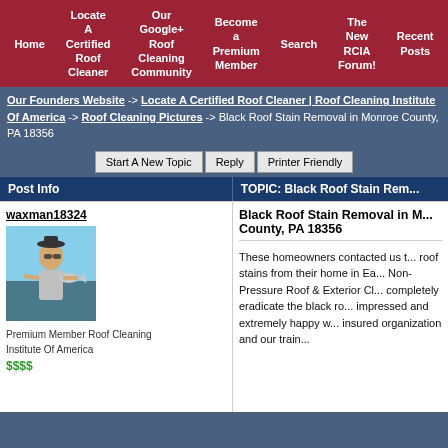Home | Locate A Certified Roof Cleaner | Our Google+ Roof Cleaning Community | Become a Premium Member | Search | The New RCIA Forum! | Recent Posts
Our Founders Website -> Locate A Certified Roof Cleaner | Roof Cleaning Institute Of America -> Roof Cleaning Pictures -> Black Roof Stain Removal in Monroe County, PA 18356
Start A New Topic | Reply | Printer Friendly
Post Info | TOPIC: Black Roof Stain Removal in Monroe County, PA 18356
waxman18324
[Figure (photo): Profile photo of user waxman18324 holding a fish near water]
Premium Member Roof Cleaning Institute Of America
$$$$
Black Roof Stain Removal in Monroe County, PA 18356
These homeowners contacted us to remove the black roof stains from their home in Ea... Non-Pressure Roof & Exterior Cl... completely eradicate the black ro... impressed and extremely happy w... insured organization and our train...